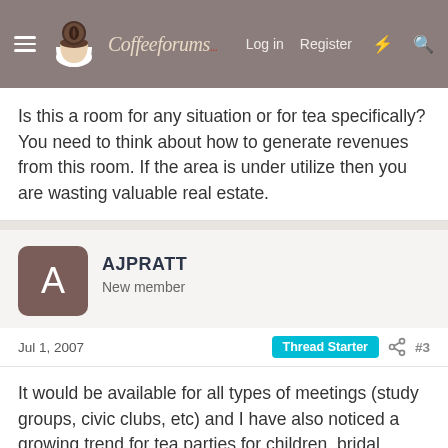CoffeeForums.com — Log in  Register
Is this a room for any situation or for tea specifically? You need to think about how to generate revenues from this room. If the area is under utilize then you are wasting valuable real estate.
AJPRATT
New member
Jul 1, 2007   Thread Starter   #3
It would be available for all types of meetings (study groups, civic clubs, etc) and I have also noticed a growing trend for tea parties for children, bridal parties, people in general. Its not soething set in stone, but I know of a few ladies who travel 40 minutes to vsit a tea